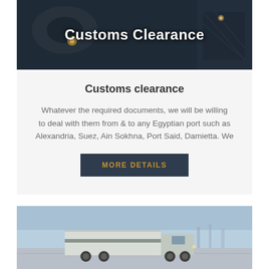[Figure (photo): Dark industrial/transportation scene with heavy machinery or truck at night/dusk, with text overlay 'Customs Clearance']
Customs clearance
Whatever the required documents, we will be willing to deal with them from & to any Egyptian port such as Alexandria, Suez, Ain Sokhna, Port Said, Damietta. We
MORE DETAILS
[Figure (photo): Truck or transport vehicle on a road with a light sky background]